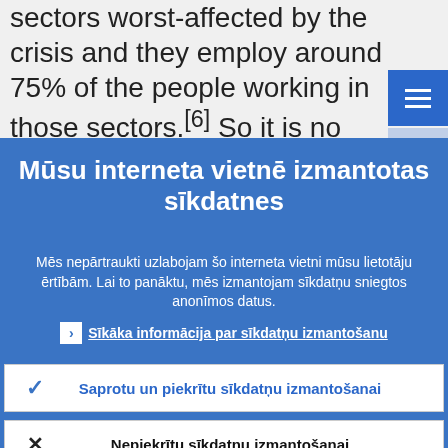sectors worst-affected by the crisis and they employ around 75% of the people working in those sectors.[6] So it is no surprise that many SMEs in Europe were put at risk of
Mūsu interneta vietnē izmantotas sīkdatnes
Mēs nepārtraukti uzlabojam šo interneta vietni mūsu lietotāju ērtībām. Lai to panāktu, mēs izmantojam sīkdatņu sniegtos anonīmos datus.
Sīkāka informācija par sīkdatņu izmantošanu
Saprotu un piekrītu sīkdatņu izmantošanai
Nepiekrītu sīkdatņu izmantošanai